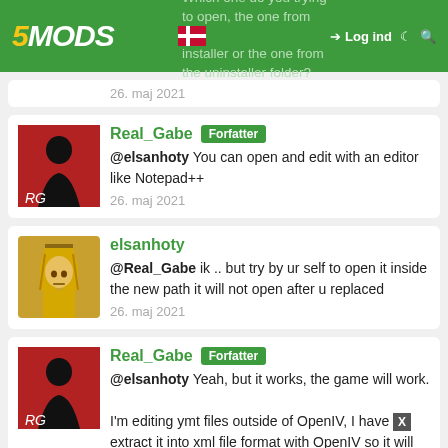5MODS - Which one do you trying to open, the one from the installer or the one from the uninstaller folder? Log ind
26. maj 2021
Real_Gabe Forfatter
@elsanhoty You can open and edit with an editor like Notepad++
26. maj 2021
elsanhoty
@Real_Gabe ik .. but try by ur self to open it inside the new path it will not open after u replaced
26. maj 2021
Real_Gabe Forfatter
@elsanhoty Yeah, but it works, the game will work.

I'm editing ymt files outside of OpenIV, I have [X] extract it into xml file format with OpenIV so it will be editable. So the edited carcols.ymt is an xml file.
I think thats why OpenIV throws an error. It is trying to